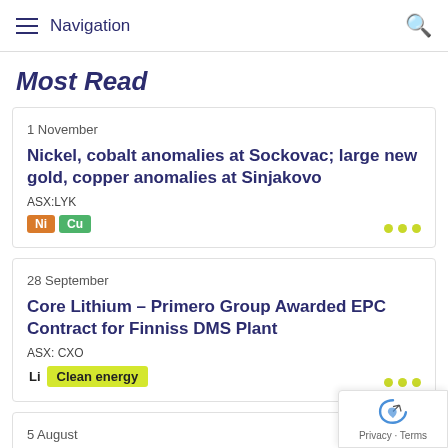Navigation
Most Read
1 November
Nickel, cobalt anomalies at Sockovac; large new gold, copper anomalies at Sinjakovo
ASX:LYK
Ni  Cu
28 September
Core Lithium – Primero Group Awarded EPC Contract for Finniss DMS Plant
ASX: CXO
Li  Clean energy
5 August
Core appoints new CEO